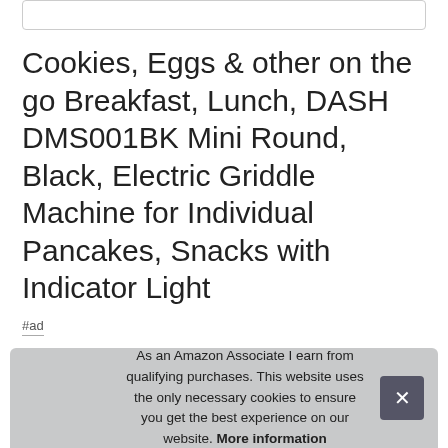Cookies, Eggs & other on the go Breakfast, Lunch, DASH DMS001BK Mini Round, Black, Electric Griddle Machine for Individual Pancakes, Snacks with Indicator Light
#ad
As an Amazon Associate I earn from qualifying purchases. This website uses the only necessary cookies to ensure you get the best experience on our website. More information